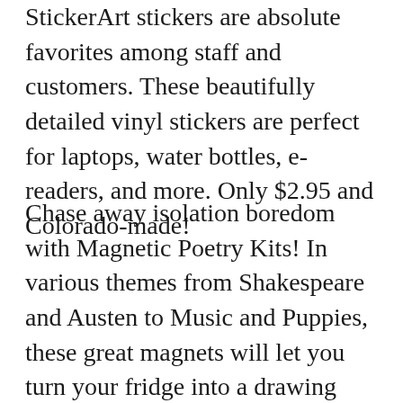StickerArt stickers are absolute favorites among staff and customers. These beautifully detailed vinyl stickers are perfect for laptops, water bottles, e-readers, and more. Only $2.95 and Colorado-made!
Chase away isolation boredom with Magnetic Poetry Kits! In various themes from Shakespeare and Austen to Music and Puppies, these great magnets will let you turn your fridge into a drawing board of creativity. $11.95 a piece, you can get two and mix and match–imagine a fridge poem featuring Shakespeare and puppies! These